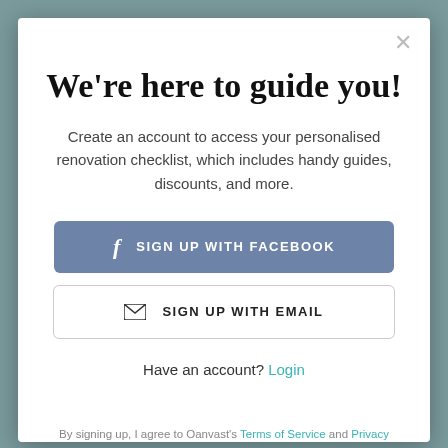We're here to guide you!
Create an account to access your personalised renovation checklist, which includes handy guides, discounts, and more.
SIGN UP WITH FACEBOOK
SIGN UP WITH EMAIL
Have an account? Login
By signing up, I agree to Oanvast's Terms of Service and Privacy